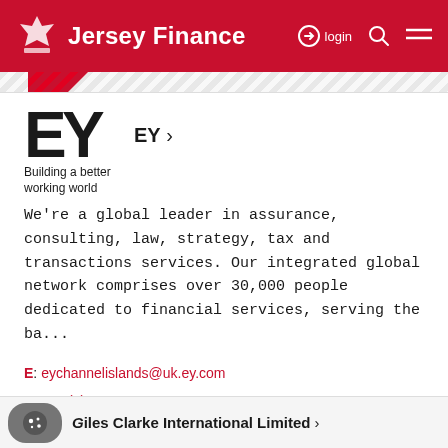Jersey Finance  login
EY ›
[Figure (logo): EY logo with tagline 'Building a better working world']
We're a global leader in assurance, consulting, law, strategy, tax and transactions services. Our integrated global network comprises over 30,000 people dedicated to financial services, serving the ba...
E: eychannelislands@uk.ey.com
T: +44 (0)1534 288600
W: www.ey.com/ci
Giles Clarke International Limited ›